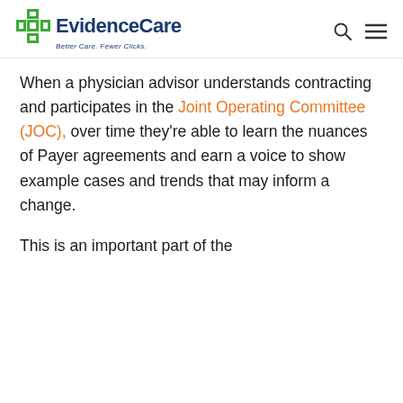EvidenceCare — Better Care. Fewer Clicks.
When a physician advisor understands contracting and participates in the Joint Operating Committee (JOC), over time they're able to learn the nuances of Payer agreements and earn a voice to show example cases and trends that may inform a change.
This is an important part of the